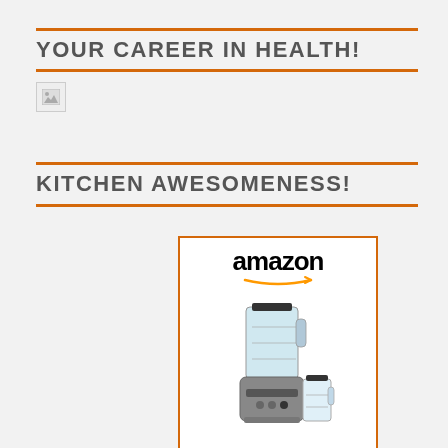YOUR CAREER IN HEALTH!
[Figure (other): Broken image placeholder]
KITCHEN AWESOMENESS!
[Figure (other): Amazon advertisement widget showing a Blendtec Designer 675 blender with Shop now button and Amazon logo]